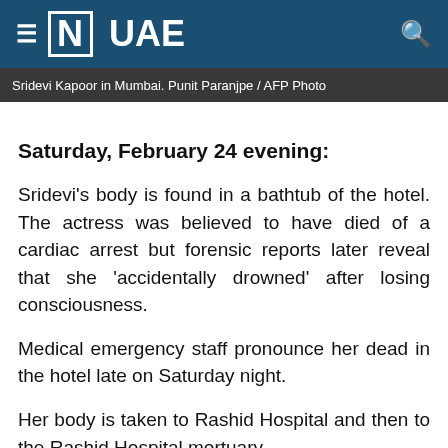≡ [N] UAE
Sridevi Kapoor in Mumbai. Punit Paranjpe / AFP Photo
Saturday, February 24 evening:
Sridevi's body is found in a bathtub of the hotel. The actress was believed to have died of a cardiac arrest but forensic reports later reveal that she 'accidentally drowned' after losing consciousness.
Medical emergency staff pronounce her dead in the hotel late on Saturday night.
Her body is taken to Rashid Hospital and then to the Rashid Hospital mortuary.
Sunday, February 25: